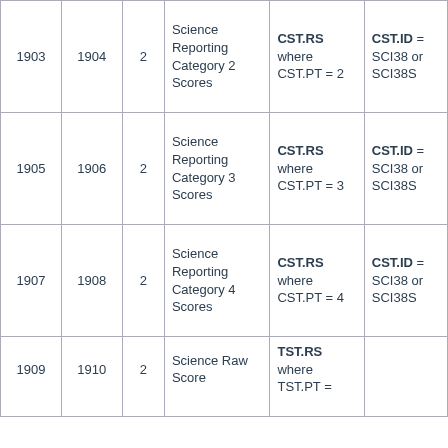| 1903 | 1904 | 2 | Science Reporting Category 2 Scores | CST.RS where CST.PT = 2 | CST.ID = SCI38 or SCI38S |
| 1905 | 1906 | 2 | Science Reporting Category 3 Scores | CST.RS where CST.PT = 3 | CST.ID = SCI38 or SCI38S |
| 1907 | 1908 | 2 | Science Reporting Category 4 Scores | CST.RS where CST.PT = 4 | CST.ID = SCI38 or SCI38S |
| 1909 | 1910 | 2 | Science Raw Score | TST.RS where TST.PT = |  |